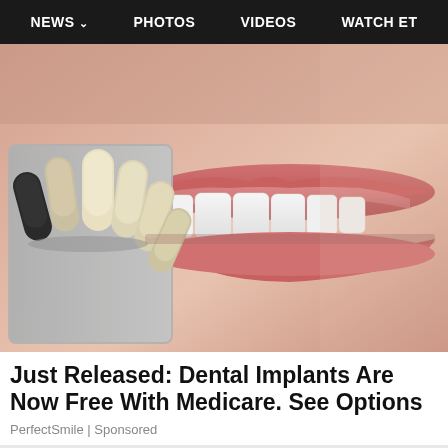NEWS  PHOTOS  VIDEOS  WATCH ET
[Figure (photo): Close-up photo of a smiling person with white teeth next to a dental tooth shade guide showing various shades of dental veneers/implants]
Just Released: Dental Implants Are Now Free With Medicare. See Options
PerfectSmile | Sponsored